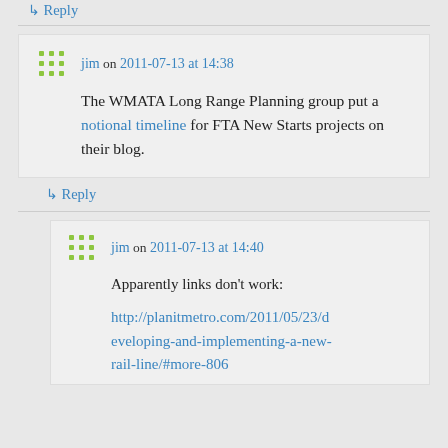↳ Reply
jim on 2011-07-13 at 14:38
The WMATA Long Range Planning group put a notional timeline for FTA New Starts projects on their blog.
↳ Reply
jim on 2011-07-13 at 14:40
Apparently links don't work:
http://planitmetro.com/2011/05/23/developing-and-implementing-a-new-rail-line/#more-806